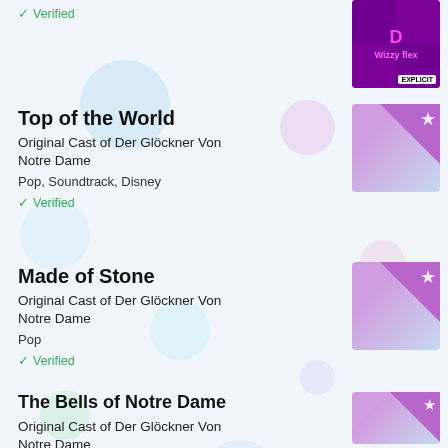[Figure (illustration): Album art for Wizzy flex - dark purple/pink background with neon pink text 'Wizzy flex' and explicit content badge]
✓ Verified
Top of the World
Original Cast of Der Glöckner Von Notre Dame
Pop, Soundtrack, Disney
✓ Verified
[Figure (illustration): Album art placeholder with purple/pink diagonal corner and light blue background with star icon]
Made of Stone
Original Cast of Der Glöckner Von Notre Dame
Pop
✓ Verified
[Figure (illustration): Album art placeholder with purple/pink diagonal corner and light blue background with star icon]
The Bells of Notre Dame
Original Cast of Der Glöckner Von Notre Dame
Pop, Soundtrack
[Figure (illustration): Album art placeholder with purple/pink diagonal corner and light blue background with star icon]